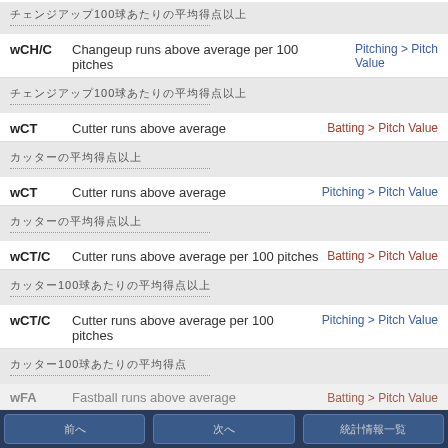wCH/C | Changeup runs above average per 100 pitches | Pitching > Pitch Value
チェンジアップ100球あたりの平均得点以上
wCT | Cutter runs above average | Batting > Pitch Value
カッターの平均得点以上
wCT | Cutter runs above average | Pitching > Pitch Value
カッターの平均得点以上
wCT/C | Cutter runs above average per 100 pitches | Batting > Pitch Value
カッター100球あたりの平均得点以上
wCT/C | Cutter runs above average per 100 pitches | Pitching > Pitch Value
カッター100球あたりの平均得点
wFA | Fastball runs above average | Batting > Pitch Value
前へ | 次へ | 統計情報一覧